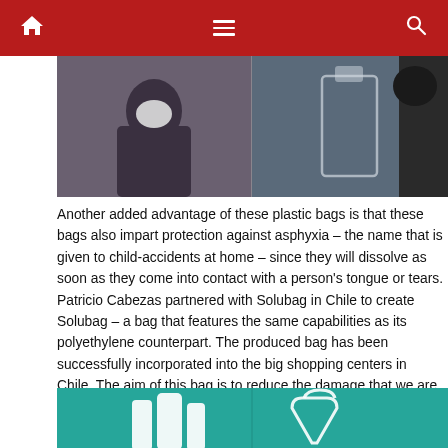Navigation bar with home, menu, and search icons
[Figure (photo): Two-panel photo: left panel shows a person holding a white cloth or bag to their face; right panel shows a transparent bag or container held up, with a dark background]
Another added advantage of these plastic bags is that these bags also impart protection against asphyxia – the name that is given to child-accidents at home – since they will dissolve as soon as they come into contact with a person's tongue or tears. Patricio Cabezas partnered with Solubag in Chile to create Solubag – a bag that features the same capabilities as its polyethylene counterpart. The produced bag has been successfully incorporated into the big shopping centers in Chile. The aim of this bag is to reduce the damage that we are doing to our environment by providing a product that can be demolished when a person chooses.
[Figure (photo): Teal/turquoise background image split into two panels: left panel shows white bottle-like shapes, right panel shows a white bag shape outline]